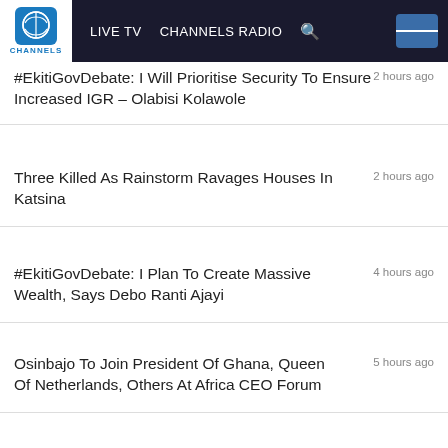CHANNELS | LIVE TV | CHANNELS RADIO
#EkitiGovDebate: I Will Prioritise Security To Ensure Increased IGR – Olabisi Kolawole
Three Killed As Rainstorm Ravages Houses In Katsina
#EkitiGovDebate: I Plan To Create Massive Wealth, Says Debo Ranti Ajayi
Osinbajo To Join President Of Ghana, Queen Of Netherlands, Others At Africa CEO Forum
MORE FROM CHANNELS TV
NCAA Presents Operating License To Nigeria Air